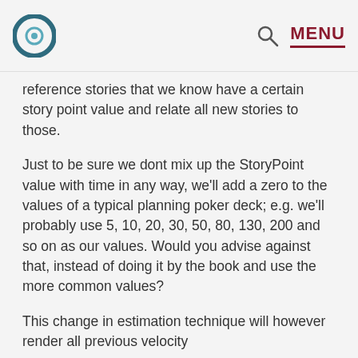C | MENU
reference stories that we know have a certain story point value and relate all new stories to those.
Just to be sure we dont mix up the StoryPoint value with time in any way, we'll add a zero to the values of a typical planning poker deck; e.g. we'll probably use 5, 10, 20, 30, 50, 80, 130, 200 and so on as our values. Would you advise against that, instead of doing it by the book and use the more common values?
This change in estimation technique will however render all previous velocity